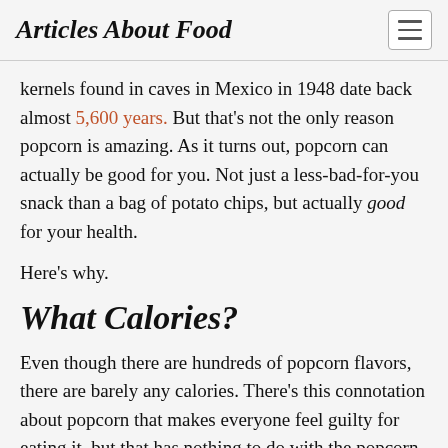Articles About Food
kernels found in caves in Mexico in 1948 date back almost 5,600 years. But that's not the only reason popcorn is amazing. As it turns out, popcorn can actually be good for you. Not just a less-bad-for-you snack than a bag of potato chips, but actually good for your health.
Here's why.
What Calories?
Even though there are hundreds of popcorn flavors, there are barely any calories. There's this connotation about popcorn that makes everyone feel guilty for eating it, but that has nothing to do with the popcorn itself — just the stuff they put on it. A small serving of